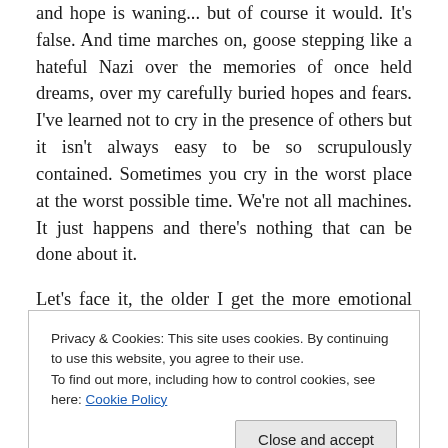and hope is waning... but of course it would. It's false. And time marches on, goose stepping like a hateful Nazi over the memories of once held dreams, over my carefully buried hopes and fears. I've learned not to cry in the presence of others but it isn't always easy to be so scrupulously contained. Sometimes you cry in the worst place at the worst possible time. We're not all machines. It just happens and there's nothing that can be done about it.
Let's face it, the older I get the more emotional triggers I find. Take right now for example. I'm walking past a church
Privacy & Cookies: This site uses cookies. By continuing to use this website, you agree to their use.
To find out more, including how to control cookies, see here: Cookie Policy
inside. And then I'd slink away to take a Pepto-Bismol or